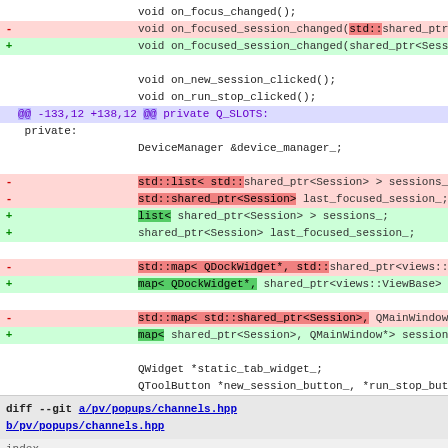[Figure (screenshot): Code diff screenshot showing changes to a C++ header file with removed lines (red) and added lines (green), replacing std:: prefixed types with non-prefixed equivalents, followed by a diff header block for pv/popups/channels.hpp]
diff --git a/pv/popups/channels.hpp b/pv/popups/channels.hpp
index 6fe9159d3f854f862b989645fb6b410001a848e8..e525b4baad13e83d3 100644 (file)
--- a/pv/popups/channels.hpp
+++ b/pv/popups/channels.hpp